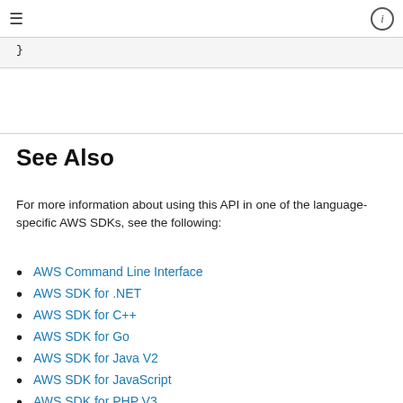≡  ⓘ
}
See Also
For more information about using this API in one of the language-specific AWS SDKs, see the following:
AWS Command Line Interface
AWS SDK for .NET
AWS SDK for C++
AWS SDK for Go
AWS SDK for Java V2
AWS SDK for JavaScript
AWS SDK for PHP V3